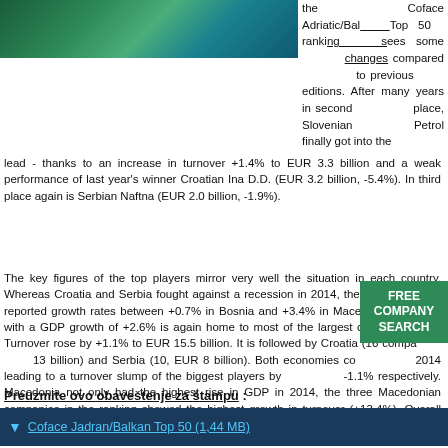[Figure (photo): Aerial/satellite photo of Adriatic coastal region with green hills and blue water]
the Coface Adriatic/Balkan Top 50 ranking sees some changes compared to previous editions. After many years in second place, Slovenian Petrol finally got into the lead - thanks to an increase in turnover +1.4% to EUR 3.3 billion and a weak performance of last year's winner Croatian Ina D.D. (EUR 3.2 billion, -5.4%). In third place again is Serbian Naftna (EUR 2.0 billion, -1.9%).
The key figures of the top players mirror very well the situation in each country. Whereas Croatia and Serbia fought against a recession in 2014, the other countries reported growth rates between +0.7% in Bosnia and +3.4% in Macedonia. Slovenia with a GDP growth of +2.6% is again home to most of the largest companies (17). Turnover rose by +1.1% to EUR 15.5 billion. It is followed by Croatia (16 companies, EUR 13 billion) and Serbia (10, EUR 8 billion). Both economies contracted in 2014 leading to a turnover slump of the biggest players by -2.2% and -1.1% respectively. Macedonia not only had the highest rise in GDP in 2014, the three Macedonian companies in the ranking showed the highest growth in turnover (+13.4%). Overall turnover of the largest companies in the region therefore decreased only slightly by -0.2%.
Preuzmite ovo obaveštenje za štampu :
Coface Jadran/Balkan Top 50 (1,44 MB)